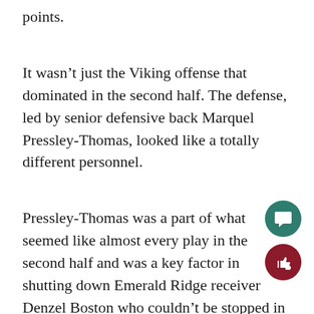points.
It wasn’t just the Viking offense that dominated in the second half. The defense, led by senior defensive back Marquel Pressley-Thomas, looked like a totally different personnel.
Pressley-Thomas was a part of what seemed like almost every play in the second half and was a key factor in shutting down Emerald Ridge receiver Denzel Boston who couldn’t be stopped in the first half.
“Everyone did their jobs like they said they would and so far it’s been great,” Pressley-